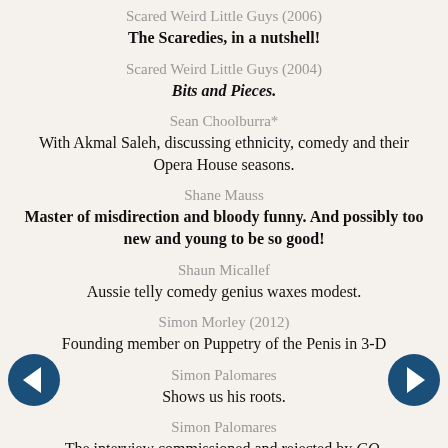Scared Weird Little Guys (2006)
The Scaredies, in a nutshell!
Scared Weird Little Guys (2004)
Bits and Pieces.
Sean Choolburra*
With Akmal Saleh, discussing ethnicity, comedy and their Opera House seasons.
Shane Mauss
Master of misdirection and bloody funny. And possibly too new and young to be so good!
Shaun Micallef
Aussie telly comedy genius waxes modest.
Simon Morley (2012)
Founding member on Puppetry of the Penis in 3-D
Simon Palomares
Shows us his roots.
Simon Palomares
The interview commissioned and rejected by GQ.
Slim Dusty
His missus, Joy McKean, tells us about Columbia Lane, Slim's last work.
Rove McManus